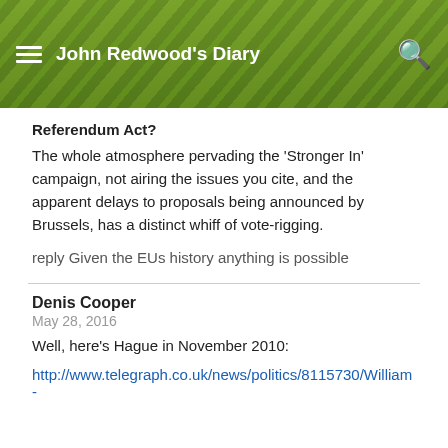John Redwood's Diary
Referendum Act?
The whole atmosphere pervading the 'Stronger In' campaign, not airing the issues you cite, and the apparent delays to proposals being announced by Brussels, has a distinct whiff of vote-rigging.
reply Given the EUs history anything is possible
Denis Cooper
May 28, 2016
Well, here's Hague in November 2010:
http://www.telegraph.co.uk/news/politics/8115730/William-